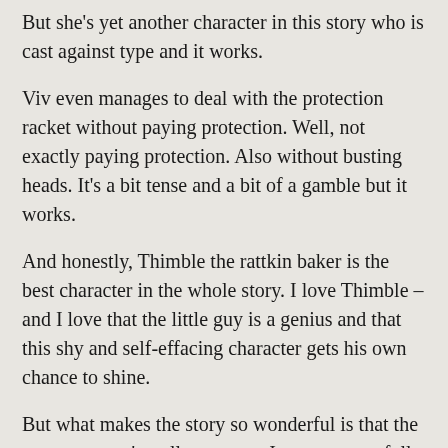But she's yet another character in this story who is cast against type and it works.
Viv even manages to deal with the protection racket without paying protection. Well, not exactly paying protection. Also without busting heads. It's a bit tense and a bit of a gamble but it works.
And honestly, Thimble the rattkin baker is the best character in the whole story. I love Thimble – and I love that the little guy is a genius and that this shy and self-effacing character gets his own chance to shine.
But what makes the story so wonderful is that the treasure wasn't really treasure. It was a stone full of karma and because Viv put good into it she got good out of it. The next person to own it seems to be on the road to getting exactly what he puts into it as well